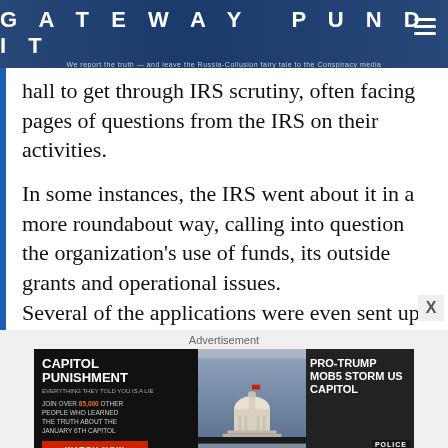GATEWAY PUNDIT — We report the truth — and leave the Russia-Collusion fairy tale to the Conspiracy media
hall to get through IRS scrutiny, often facing pages of questions from the IRS on their activities.
In some instances, the IRS went about it in a more roundabout way, calling into question the organization's use of funds, its outside grants and operational issues. Several of the applications were even sent up to the IRS' National Office for elevated scrutiny.
Advertisement
[Figure (photo): Capitol Punishment advertisement banner featuring text 'JOIN OVER 85,000 OTHER PEOPLE WHO LEARNED THE TRUTH ABOUT THE JANUARY 6TH CAPITOL', a WATCH NOW button, Capitol building image, and 'PRO-TRUMP MOBS STORM US CAPITOL' headline with crowd/police imagery. Bottom bar reads: JANUARY 6 WAS YEARS IN THE MAKING AND THE THREAT TO THE SURVIVAL OF AMERICA AS WE KNOW IT HAS NEVER BEEN GREATER.]